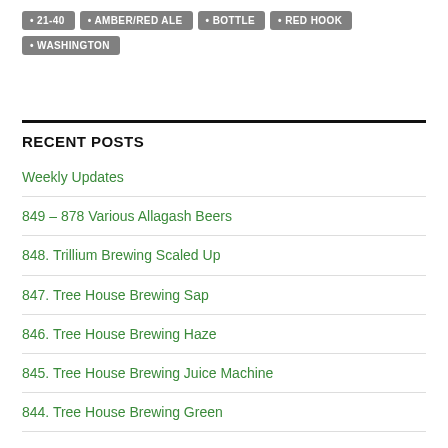21-40
AMBER/RED ALE
BOTTLE
RED HOOK
WASHINGTON
RECENT POSTS
Weekly Updates
849 – 878 Various Allagash Beers
848. Trillium Brewing Scaled Up
847. Tree House Brewing Sap
846. Tree House Brewing Haze
845. Tree House Brewing Juice Machine
844. Tree House Brewing Green